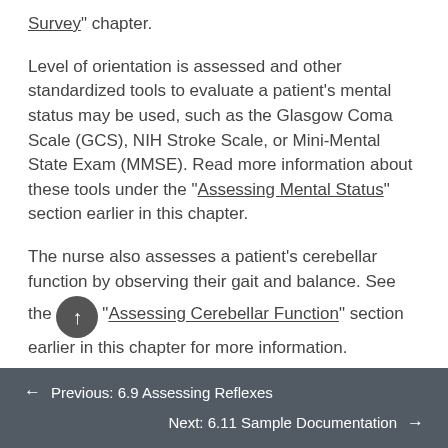Survey" chapter.
Level of orientation is assessed and other standardized tools to evaluate a patient’s mental status may be used, such as the Glasgow Coma Scale (GCS), NIH Stroke Scale, or Mini-Mental State Exam (MMSE). Read more information about these tools under the “Assessing Mental Status” section earlier in this chapter.
The nurse also assesses a patient’s cerebellar function by observing their gait and balance. See the “Assessing Cerebellar Function” section earlier in this chapter for more information.
← Previous: 6.9 Assessing Reflexes
Next: 6.11 Sample Documentation →